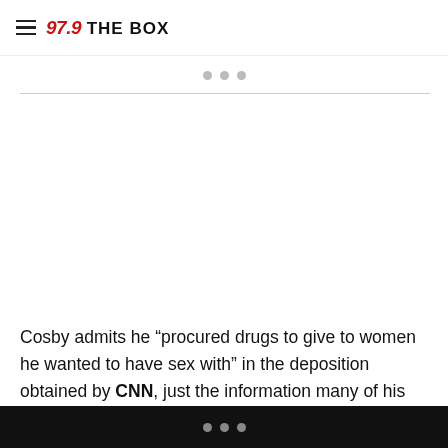97.9 THE BOX
[Figure (other): Advertisement placeholder area with three dots carousel indicator and horizontal divider line]
Cosby admits he “procured drugs to give to women he wanted to have sex with” in the deposition obtained by CNN, just the information many of his supporters needed to drop him like a bad habit.
In a statement that makes no mention of the controversy
three dots navigation indicator on black bar